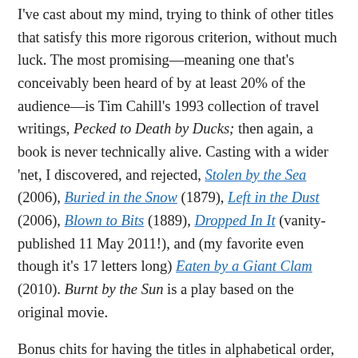I've cast about my mind, trying to think of other titles that satisfy this more rigorous criterion, without much luck. The most promising—meaning one that's conceivably been heard of by at least 20% of the audience—is Tim Cahill's 1993 collection of travel writings, Pecked to Death by Ducks; then again, a book is never technically alive. Casting with a wider 'net, I discovered, and rejected, Stolen by the Sea (2006), Buried in the Snow (1879), Left in the Dust (2006), Blown to Bits (1889), Dropped In It (vanity-published 11 May 2011!), and (my favorite even though it's 17 letters long) Eaten by a Giant Clam (2010). Burnt by the Sun is a play based on the original movie.
Bonus chits for having the titles in alphabetical order, but in true library fashion it should have been by author. Of course that would cause critical construction.